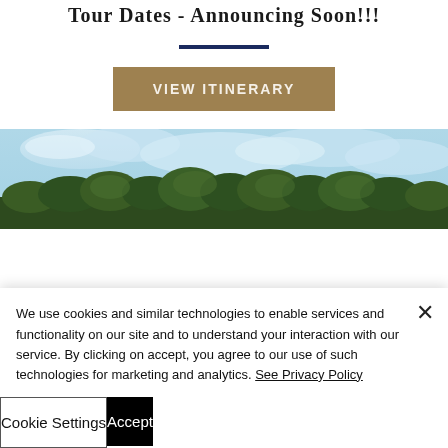Tour Dates - Announcing Soon!!!
[Figure (other): Navy blue horizontal divider bar]
VIEW ITINERARY
[Figure (photo): Tropical landscape photo with blue sky and palm trees]
We use cookies and similar technologies to enable services and functionality on our site and to understand your interaction with our service. By clicking on accept, you agree to our use of such technologies for marketing and analytics. See Privacy Policy
Cookie Settings
Accept